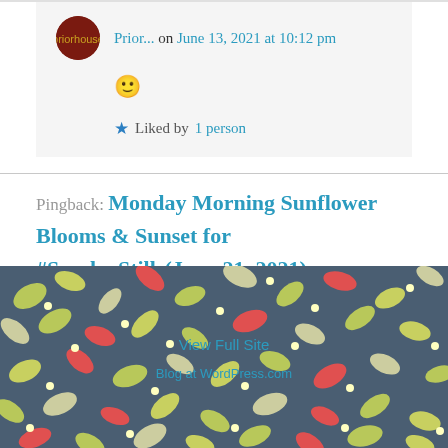Prior... on June 13, 2021 at 10:12 pm
🙂
Liked by 1 person
Pingback: Monday Morning Sunflower Blooms & Sunset for #SundayStills(June 21, 2021) – priorhouse blog
[Figure (illustration): Decorative floral leaf pattern background in dark teal/navy with colorful green, red, and cream leaves, dots and berries. Contains 'View Full Site' and 'Blog at WordPress.com' links overlaid.]